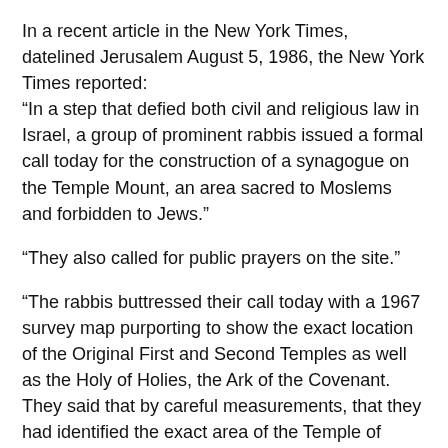In a recent article in the New York Times, datelined Jerusalem August 5, 1986, the New York Times reported: “In a step that defied both civil and religious law in Israel, a group of prominent rabbis issued a formal call today for the construction of a synagogue on the Temple Mount, an area sacred to Moslems and forbidden to Jews.”
“They also called for public prayers on the site.”
“The rabbis buttressed their call today with a 1967 survey map purporting to show the exact location of the Original First and Second Temples as well as the Holy of Holies, the Ark of the Covenant. They said that by careful measurements, that they had identified the exact area of the Temple of Mount where it would be permissible under Jewish religious law to build a synagogue.”
“In its call for the building of a synagogue, the religious order